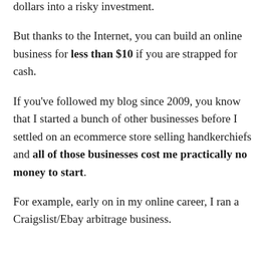dollars into a risky investment.
But thanks to the Internet, you can build an online business for less than $10 if you are strapped for cash.
If you've followed my blog since 2009, you know that I started a bunch of other businesses before I settled on an ecommerce store selling handkerchiefs and all of those businesses cost me practically no money to start.
For example, early on in my online career, I ran a Craigslist/Ebay arbitrage business.